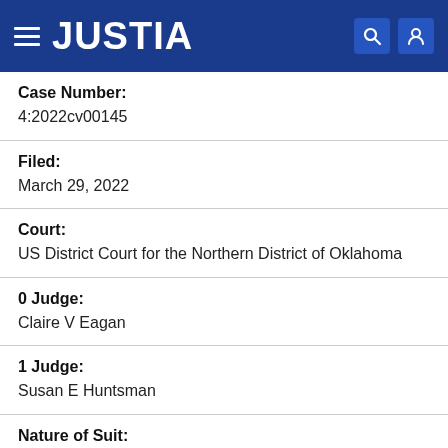JUSTIA
Case Number:
4:2022cv00145
Filed:
March 29, 2022
Court:
US District Court for the Northern District of Oklahoma
0 Judge:
Claire V Eagan
1 Judge:
Susan E Huntsman
Nature of Suit:
Condemnation